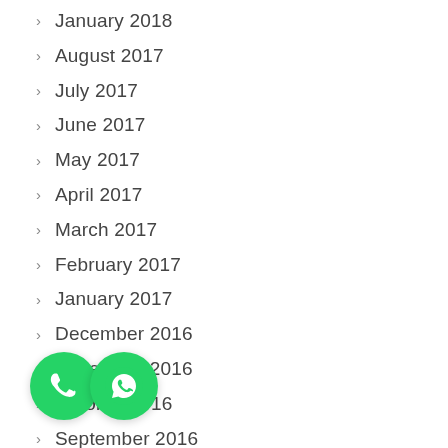January 2018
August 2017
July 2017
June 2017
May 2017
April 2017
March 2017
February 2017
January 2017
December 2016
November 2016
October 2016
September 2016